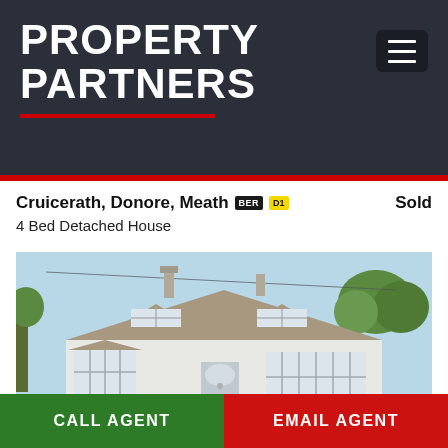PROPERTY PARTNERS
Cruicerath, Donore, Meath BER D1 | Sold
4 Bed Detached House
[Figure (photo): Exterior photo of a white 4-bedroom detached house with dormer windows, tiled roof, chimneys, and bay windows. Surrounded by greenery under a blue sky.]
CALL AGENT
EMAIL AGENT